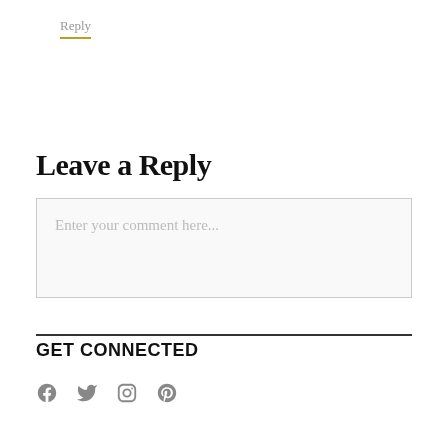Reply
Leave a Reply
Enter your comment here...
GET CONNECTED
[Figure (illustration): Social media icons: Facebook, Twitter, Instagram, Pinterest]